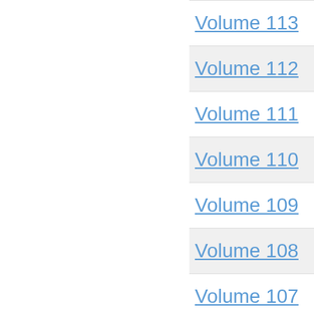Volume 113 Published Indexed with
Volume 112 Published Indexed with
Volume 111 Published Indexed with
Volume 110 Published Indexed with
Volume 109 Published Indexed with
Volume 108 Published Indexed with
Volume 107 Published Indexed with
Volume 106 Published Indexed with
Published